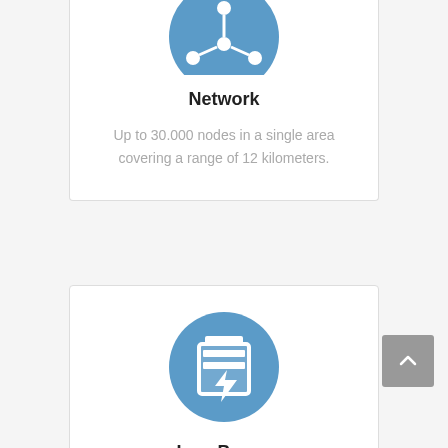[Figure (illustration): Blue circle with white network/hub icon (central node with branches)]
Network
Up to 30.000 nodes in a single area covering a range of 12 kilometers.
[Figure (illustration): Blue circle with white battery/low power icon]
Low Power